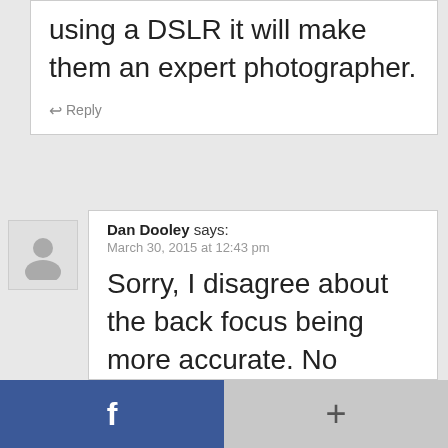using a DSLR it will make them an expert photographer.
Reply
Dan Dooley says: March 30, 2015 at 12:43 pm
Sorry, I disagree about the back focus being more accurate. No disrespect intended. I know how my camera operates and I know how to use it. Not only do I use it.
[Figure (illustration): Facebook share button (blue with f icon) on left and a plus button on grey background on right, forming a bottom toolbar]
[Figure (illustration): Generic user avatar silhouette icon in light grey box]